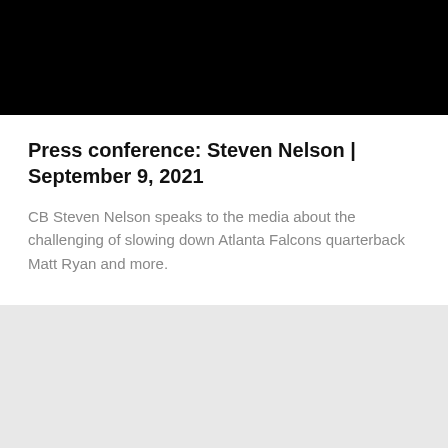[Figure (photo): Black rectangle representing a video thumbnail or image placeholder area at the top of the card]
Press conference: Steven Nelson | September 9, 2021
CB Steven Nelson speaks to the media about the challenging of slowing down Atlanta Falcons quarterback Matt Ryan and more.